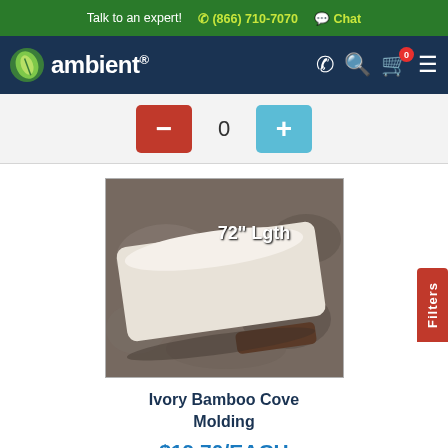Talk to an expert!  ☎ (866) 710-7070  💬 Chat
[Figure (logo): Ambient flooring brand logo with green leaf icon and white text on dark blue nav bar with phone, search, cart and menu icons]
[Figure (screenshot): Quantity selector with red minus button, 0 count, and blue plus button on light grey background]
[Figure (photo): Ivory Bamboo Cove Molding product photo showing a white/cream colored cove molding piece lying on a stone surface, labeled 72 inch Lgth in upper right]
Ivory Bamboo Cove Molding
$19.70/EACH